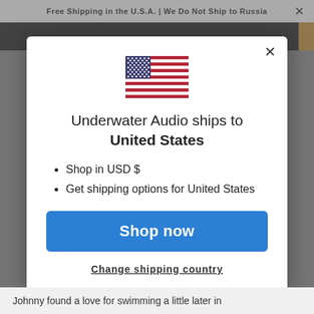Free Shipping in the U.S.A. | We Do Not Ship to Russia ×
[Figure (screenshot): US flag icon centered in modal dialog]
Underwater Audio ships to United States
Shop in USD $
Get shipping options for United States
Shop now
Change shipping country
Johnny found a love for swimming a little later in